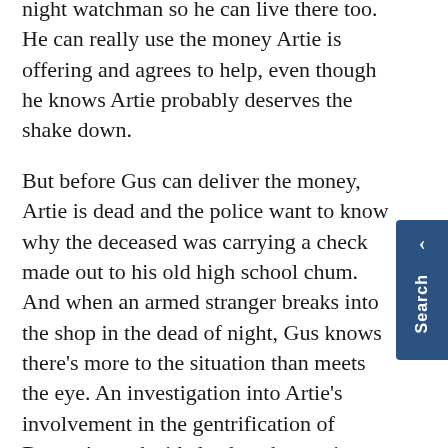night watchman so he can live there too. He can really use the money Artie is offering and agrees to help, even though he knows Artie probably deserves the shake down.
But before Gus can deliver the money, Artie is dead and the police want to know why the deceased was carrying a check made out to his old high school chum. And when an armed stranger breaks into the shop in the dead of night, Gus knows there's more to the situation than meets the eye. An investigation into Artie's involvement in the gentrification of Denver's north side leads to harrowing encounters with dangerous criminals, both from the area and south of the border. Suddenly Gus is ensnared in the theft of one of the most revered religious